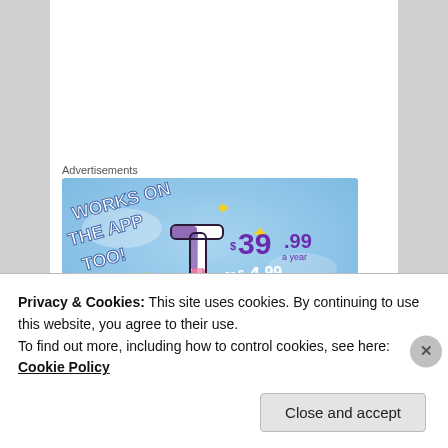Advertisements
[Figure (screenshot): Tumblr advertisement banner showing 'WORKS ON THE APP TOO!' text with Tumblr 't' logo on a blue sky background. Pricing shown: $39.99 a year or $4.99 a month + FREE SHIPPING]
Melanie Barbato
Privacy & Cookies: This site uses cookies. By continuing to use this website, you agree to their use.
To find out more, including how to control cookies, see here: Cookie Policy
Close and accept